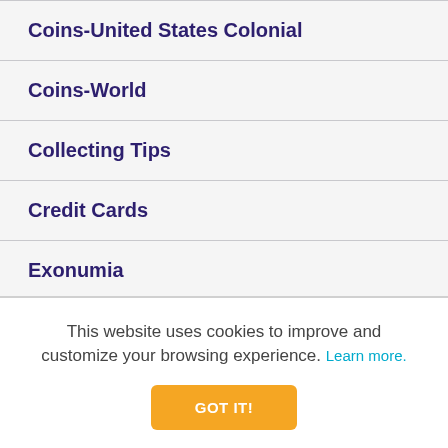Coins-United States Colonial
Coins-World
Collecting Tips
Credit Cards
Exonumia
Library
This website uses cookies to improve and customize your browsing experience. Learn more.
GOT IT!